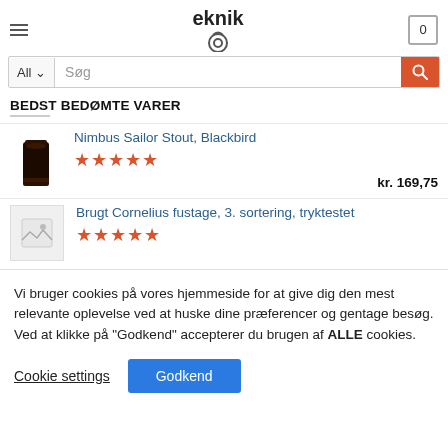eknik — logo and navigation header
[Figure (screenshot): Search bar with 'All' dropdown, 'Søg' placeholder text input, and orange search button]
BEDST BEDØMTE VARER
[Figure (photo): Dark stout beer in a pint glass]
Nimbus Sailor Stout, Blackbird — 5 stars — kr. 169,75
[Figure (illustration): Placeholder image icon for product]
Brugt Cornelius fustage, 3. sortering, tryktestet — 5 stars
Vi bruger cookies på vores hjemmeside for at give dig den mest relevante oplevelse ved at huske dine præferencer og gentage besøg. Ved at klikke på "Godkend" accepterer du brugen af ALLE cookies.
Cookie settings   Godkend